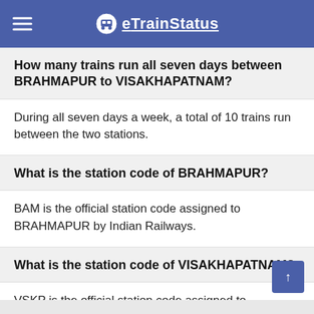eTrainStatus
How many trains run all seven days between BRAHMAPUR to VISAKHAPATNAM?
During all seven days a week, a total of 10 trains run between the two stations.
What is the station code of BRAHMAPUR?
BAM is the official station code assigned to BRAHMAPUR by Indian Railways.
What is the station code of VISAKHAPATNAM?
VSKP is the official station code assigned to VISAKHAPATNAM by Indian Railways authorities.